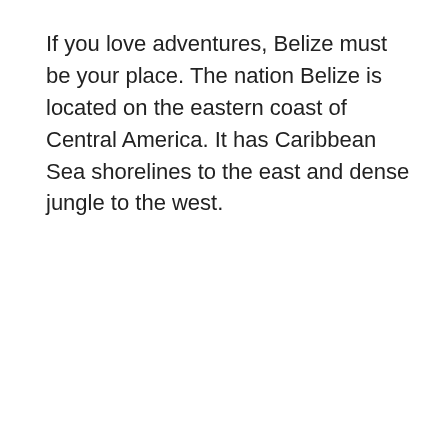If you love adventures, Belize must be your place. The nation Belize is located on the eastern coast of Central America. It has Caribbean Sea shorelines to the east and dense jungle to the west.